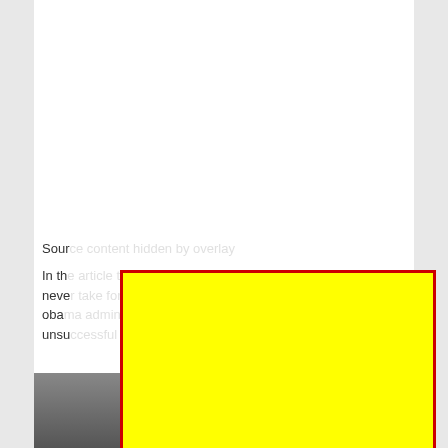[Figure (infographic): Presidents' Day graphic with portrait painting of a founding father in dark background. Script text 'Happy' in light blue and bold 'PRESIDENTS' DAY' in white. FreedomWorks logo at bottom. A yellow 'close' button with red border overlaid on the image.]
Sour...
In th... never... obam... unsu...
[Figure (photo): Bottom portion of a black and white photo with text 'inspire others to' visible]